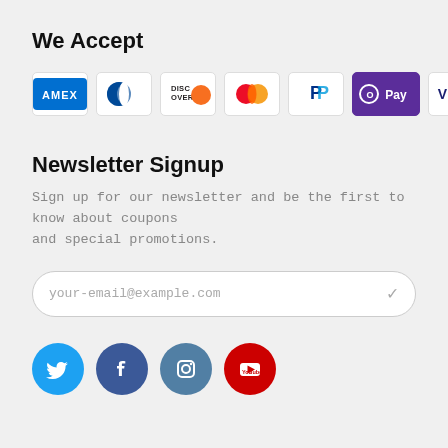We Accept
[Figure (infographic): Row of payment method icons: AMEX, Diners Club, Discover, Mastercard, PayPal, Apple Pay/O Pay, Visa]
Newsletter Signup
Sign up for our newsletter and be the first to know about coupons and special promotions.
your-email@example.com
[Figure (infographic): Row of four social media icons: Twitter (cyan circle), Facebook (dark blue circle), Instagram (steel blue circle), YouTube (red circle)]